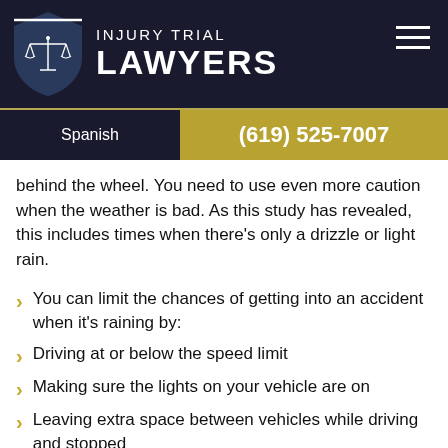INJURY TRIAL LAWYERS
Spanish    (619) 525-7007
behind the wheel. You need to use even more caution when the weather is bad. As this study has revealed, this includes times when there’s only a drizzle or light rain.
You can limit the chances of getting into an accident when it's raining by:
Driving at or below the speed limit
Making sure the lights on your vehicle are on
Leaving extra space between vehicles while driving and stopped
Giving yourself extra time to make a turn
Taking turns particularly slowly
Putting your cell phone away and focusing all of your attention on the road